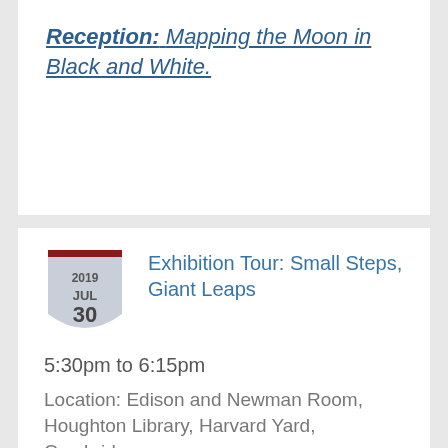Reception: Mapping the Moon in Black and White.
Exhibition Tour: Small Steps, Giant Leaps
5:30pm to 6:15pm
Location: Edison and Newman Room, Houghton Library, Harvard Yard, Cambridge
Join curator John Overholt for a guided tour of the exhibition Small Steps, Giant Leaps to learn about the